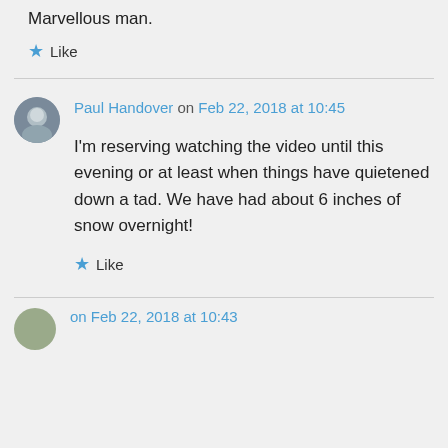Marvellous man.
★ Like
Paul Handover on Feb 22, 2018 at 10:45
I'm reserving watching the video until this evening or at least when things have quietened down a tad. We have had about 6 inches of snow overnight!
★ Like
on Feb 22, 2018 at 10:43